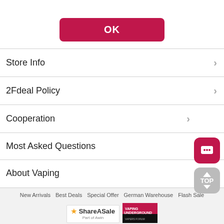[Figure (screenshot): Red OK button]
Store Info
2Fdeal Policy
Cooperation
Most Asked Questions
About Vaping
New Arrivals  Best Deals  Special Offer  German Warehouse  Flash Sale
[Figure (logo): ShareASale and Vaping Underground logos]
Copyright © 2018-2022 2FDEAL All Rights Reserved.